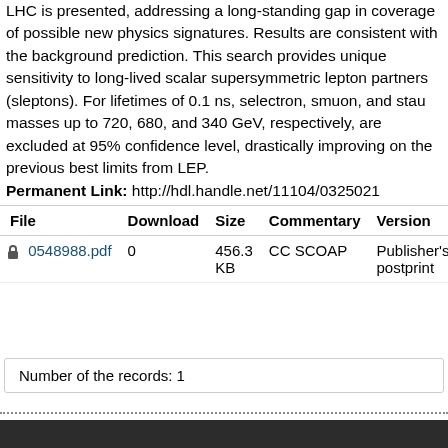LHC is presented, addressing a long-standing gap in coverage of possible new physics signatures. Results are consistent with the background prediction. This search provides unique sensitivity to long-lived scalar supersymmetric lepton partners (sleptons). For lifetimes of 0.1 ns, selectron, smuon, and stau masses up to 720, 680, and 340 GeV, respectively, are excluded at 95% confidence level, drastically improving on the previous best limits from LEP. Permanent Link: http://hdl.handle.net/11104/0325021
| File | Download | Size | Commentary | Version | Acce |
| --- | --- | --- | --- | --- | --- |
| 0548988.pdf | 0 | 456.3 KB | CC SCOAP | Publisher's postprint | open acce |
Number of the records: 1